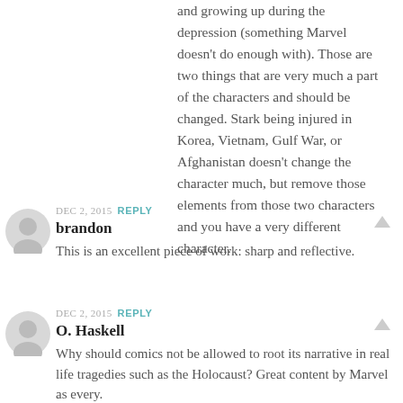and growing up during the depression (something Marvel doesn't do enough with). Those are two things that are very much a part of the characters and should be changed. Stark being injured in Korea, Vietnam, Gulf War, or Afghanistan doesn't change the character much, but remove those elements from those two characters and you have a very different character.
DEC 2, 2015 REPLY
brandon
This is an excellent piece of work: sharp and reflective.
DEC 2, 2015 REPLY
O. Haskell
Why should comics not be allowed to root its narrative in real life tragedies such as the Holocaust? Great content by Marvel as every.